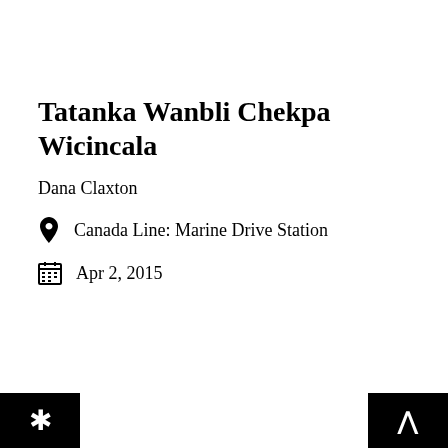Tatanka Wanbli Chekpa Wicincala
Dana Claxton
Canada Line: Marine Drive Station
Apr 2, 2015
* ^